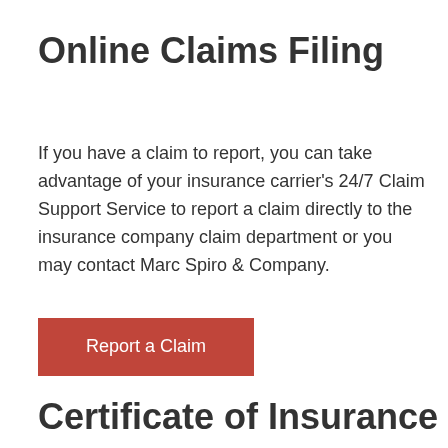Online Claims Filing
If you have a claim to report, you can take advantage of your insurance carrier's 24/7 Claim Support Service to report a claim directly to the insurance company claim department or you may contact Marc Spiro & Company.
[Figure (other): Red button labeled 'Report a Claim']
Certificate of Insurance